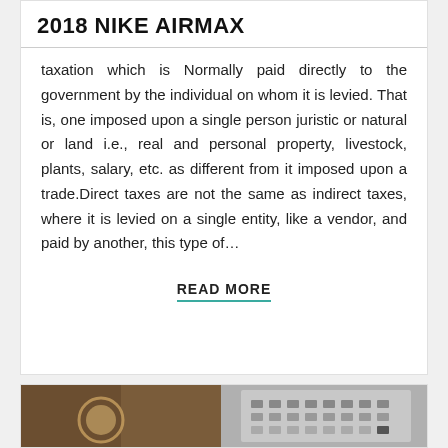2018 NIKE AIRMAX
taxation which is Normally paid directly to the government by the individual on whom it is levied. That is, one imposed upon a single person juristic or natural or land i.e., real and personal property, livestock, plants, salary, etc. as different from it imposed upon a trade.Direct taxes are not the same as indirect taxes, where it is levied on a single entity, like a vendor, and paid by another, this type of…
READ MORE
[Figure (photo): Photo of a calculator and glasses on a wooden desk surface, partially visible at bottom of page]